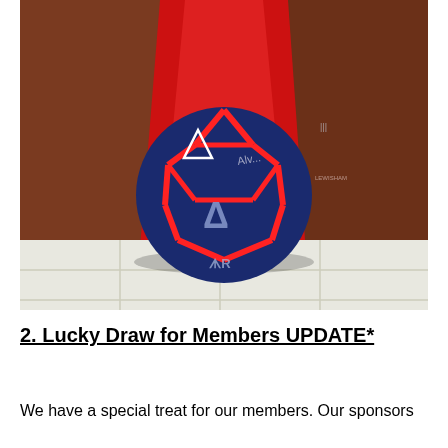[Figure (photo): A navy blue and red soccer/football with brand logos and a signature on it, sitting on a tiled floor in front of a red sports jersey hanging on a wooden door/locker.]
2. Lucky Draw for Members UPDATE*
We have a special treat for our members. Our sponsors